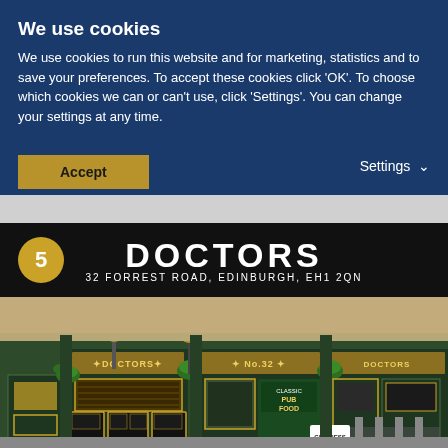We use cookies
We use cookies to run this website and for marketing, statistics and to save your preferences. To accept these cookies click 'OK'. To choose which cookies we can or can't use, click 'Settings'. You can change your settings at any time.
Accept
Settings
[Figure (photo): Exterior photograph of Doctors pub at 32 Forrest Road, Edinburgh, showing a dark green Victorian corner pub facade with gold signage, hanging baskets of plants, and outdoor seating]
5  DOCTORS  32 FORREST ROAD, EDINBURGH, EH1 2QN